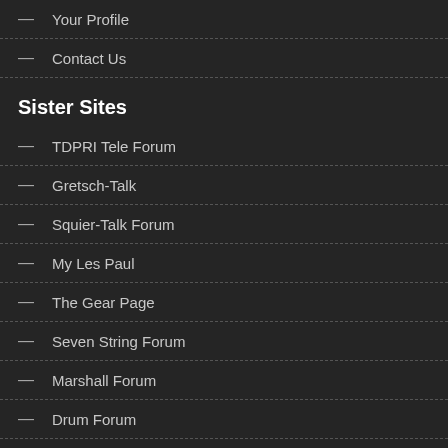— Your Profile
— Contact Us
Sister Sites
— TDPRI Tele Forum
— Gretsch-Talk
— Squier-Talk Forum
— My Les Paul
— The Gear Page
— Seven String Forum
— Marshall Forum
— Drum Forum
— Everything SG
— Epiphone Talk
Disclosure